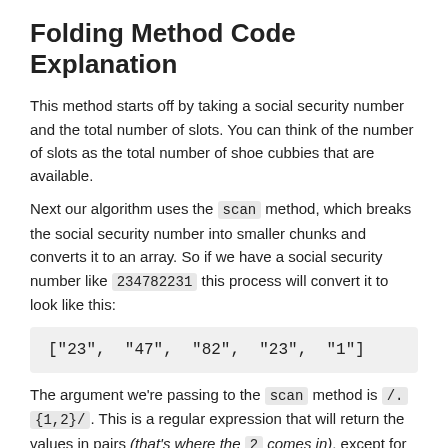Folding Method Code Explanation
This method starts off by taking a social security number and the total number of slots. You can think of the number of slots as the total number of shoe cubbies that are available.
Next our algorithm uses the scan method, which breaks the social security number into smaller chunks and converts it to an array. So if we have a social security number like 234782231 this process will convert it to look like this:
["23",  "47",  "82",  "23",  "1"]
The argument we're passing to the scan method is /. {1,2}/. This is a regular expression that will return the values in pairs (that's where the 2 comes in), except for the last element, which will be by itself (which is where the 1 comes in).